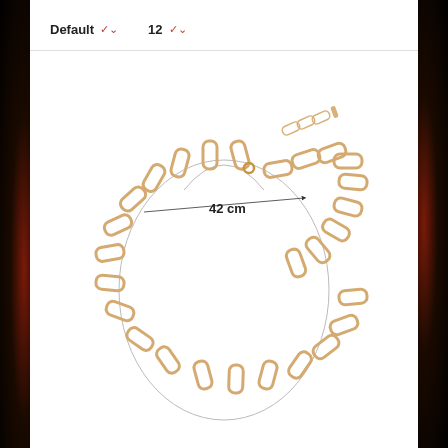Default ▾   12 ▾
[Figure (photo): Gold chain link necklace laid flat in a circular shape with a measurement diagram showing 42 cm diameter, with smaller paper-clip style chain links and a clasp extender. An outline of a neck/chest silhouette is overlaid to show how the necklace sits when worn.]